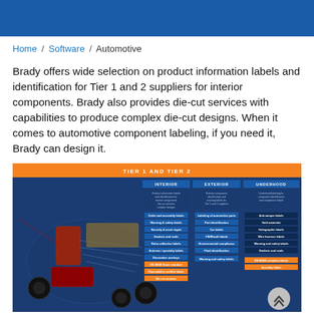Home / Software / Automotive
Brady offers wide selection on product information labels and identification for Tier 1 and 2 suppliers for interior components. Brady also provides die-cut services with capabilities to produce complex die-cut designs. When it comes to automotive component labeling, if you need it, Brady can design it.
[Figure (infographic): Automotive diagram showing an exploded view of a car with labeled components organized into three columns: Interior, Exterior, and Underhood. The diagram is titled 'TIER 1 AND TIER 2' and displayed on a dark blue background with an orange header bar. Various orange and blue label tags point to different car parts.]